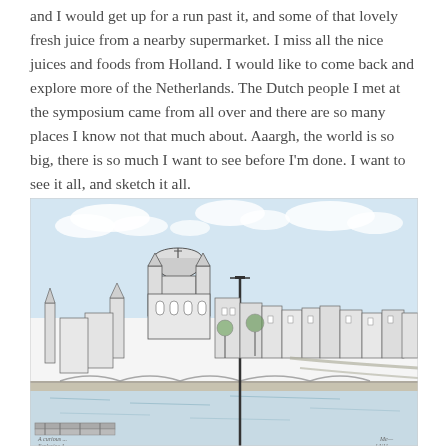and I would get up for a run past it, and some of that lovely fresh juice from a nearby supermarket. I miss all the nice juices and foods from Holland. I would like to come back and explore more of the Netherlands. The Dutch people I met at the symposium came from all over and there are so many places I know not that much about. Aaargh, the world is so big, there is so much I want to see before I'm done. I want to see it all, and sketch it all.
[Figure (illustration): Pen and ink sketch with watercolor wash of Amsterdam cityscape, featuring the Nicolaaskerk (Sint-Nicolaaskerk) with its distinctive dome and towers prominently in the center-left, surrounded by traditional Dutch canal-side buildings extending to the right. A bridge and canal are visible in the foreground, along with a tall lamppost. The sky is rendered in light blue watercolor. Artist signatures appear in the bottom left and bottom right corners.]